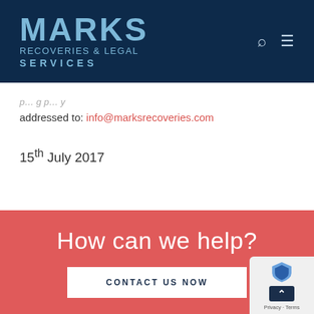MARKS RECOVERIES & LEGAL SERVICES
addressed to: info@marksrecoveries.com
15th July 2017
How can we help?
CONTACT US NOW